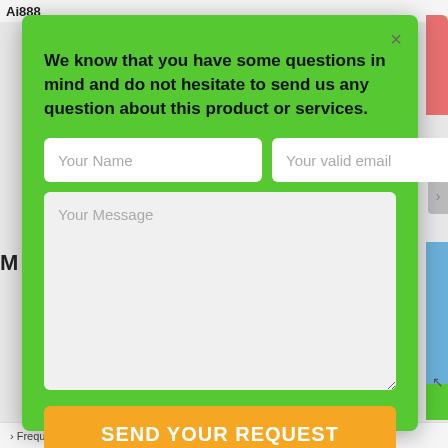Ai888
[Figure (screenshot): Contact form modal popup with green background. Contains a message, two input fields (Your Name, Your valid email), a textarea (Your Message), and an orange submit button labeled SEND YOUR REQUEST. Has a close (×) button in the top right corner.]
We know that you have some questions in mind and do not hesitate to send us any question about this product or services.
› Frequently Update